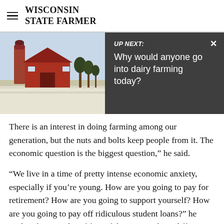WISCONSIN STATE FARMER
[Figure (screenshot): UP NEXT overlay banner with a farm/barn photo on the left and dark overlay on the right reading 'UP NEXT: Why would anyone go into dairy farming today?' with an X close button]
There is an interest in doing farming among our generation, but the nuts and bolts keep people from it. The economic question is the biggest question,” he said.
“We live in a time of pretty intense economic anxiety, especially if you’re young. How are you going to pay for retirement? How are you going to support yourself? How are you going to pay off ridiculous student loans?" he said. "There is a lot of fear of doing something different and going out on your own. Farming is inherently that."